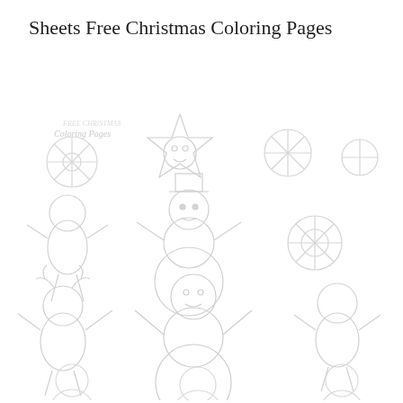Sheets Free Christmas Coloring Pages
[Figure (illustration): A faint/watermarked background image showing Christmas coloring page elements including snowflakes, snowmen, gingerbread-style figures, stars, and other Christmas themed outlines arranged in a grid-like pattern. The image appears very light/washed out in light gray on white. There is also faint text near the top left of the image area that reads 'FREE CHRISTMAS Coloring Pages'.]